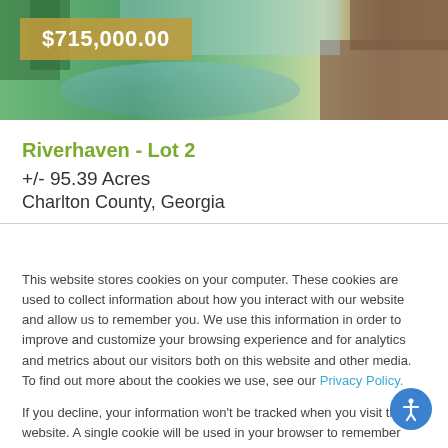[Figure (photo): Outdoor nature photo banner showing trees, water reflection, and soil/bark textures]
$715,000.00
Riverhaven - Lot 2
+/- 95.39 Acres
Charlton County, Georgia
This website stores cookies on your computer. These cookies are used to collect information about how you interact with our website and allow us to remember you. We use this information in order to improve and customize your browsing experience and for analytics and metrics about our visitors both on this website and other media. To find out more about the cookies we use, see our Privacy Policy.
If you decline, your information won't be tracked when you visit this website. A single cookie will be used in your browser to remember your preference not to be tracked.